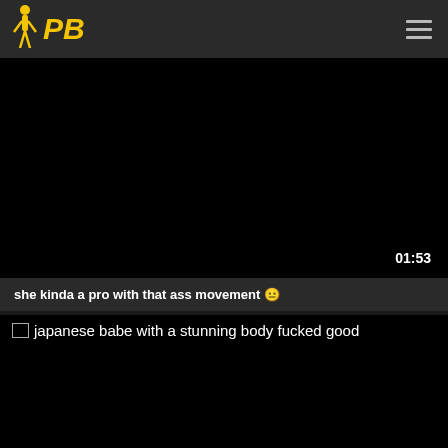[Figure (logo): PB website logo with figure icon in yellow]
[Figure (screenshot): Black video thumbnail with timestamp 01:53 in bottom right corner]
she kinda a pro with that ass movement 😐
[Figure (screenshot): Black video thumbnail for japanese babe with a stunning body fucked good]
japanese babe with a stunning body fucked good